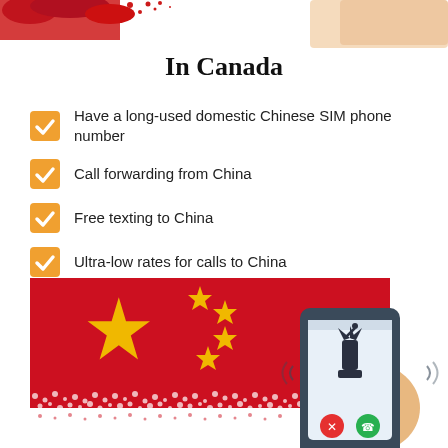[Figure (illustration): Decorative top border with red pattern/texture elements and a hand holding a smartphone on the right corner]
In Canada
Have a long-used domestic Chinese SIM phone number
Call forwarding from China
Free texting to China
Ultra-low rates for calls to China
[Figure (illustration): Chinese flag (red background with large and small golden stars) with a hand holding a smartphone showing Statue of Liberty icon with call buttons, and decorative white dotted wave pattern at the bottom of the flag image]